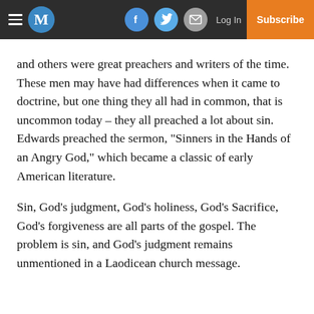M | Log In | Subscribe
and others were great preachers and writers of the time. These men may have had differences when it came to doctrine, but one thing they all had in common, that is uncommon today – they all preached a lot about sin. Edwards preached the sermon, "Sinners in the Hands of an Angry God," which became a classic of early American literature.
Sin, God's judgment, God's holiness, God's Sacrifice, God's forgiveness are all parts of the gospel. The problem is sin, and God's judgment remains unmentioned in a Laodicean church message.